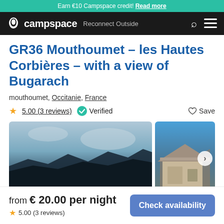Earn €10 Campspace credit! Read more
campspace  Reconnect Outside
GR36 Mouthoumet - les Hautes Corbières - with a view of Bugarach
mouthoumet, Occitanie, France
5.00 (3 reviews)  Verified  Save
[Figure (photo): Outdoor landscape photo showing mountains and sky at dusk/dawn with dark silhouette hills]
[Figure (photo): Photo of a wooden cabin or shelter structure against a blue sky]
from € 20.00 per night  5.00 (3 reviews)  Check availability